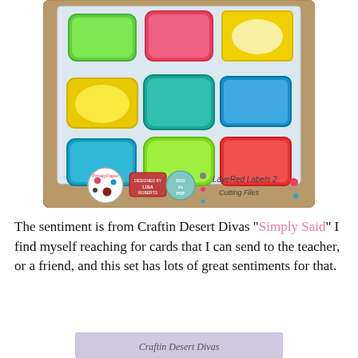[Figure (illustration): Product image showing 'Layered Labels 2 Cutting Files' by ProdigPaper featuring 9 colorful label/frame shapes in green, pink, yellow, teal, and red arranged in a 3x3 grid on a kraft-paper background with light blue interior, plus logos and branding badges at the bottom.]
The sentiment is from Craftin Desert Divas "Simply Said" I find myself reaching for cards that I can send to the teacher, or a friend, and this set has lots of great sentiments for that.
[Figure (illustration): Partial view of a Craftin Desert Divas product image at the bottom of the page, partially cropped.]